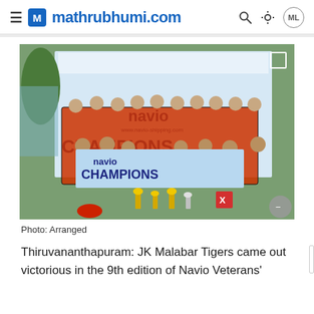mathrubhumi.com
[Figure (photo): Cricket team group photo holding a banner reading 'navio CHAMPIONS', players wearing red and black jerseys, posing with trophies and medals outdoors]
Photo: Arranged
Thiruvananthapuram: JK Malabar Tigers came out victorious in the 9th edition of Navio Veterans'